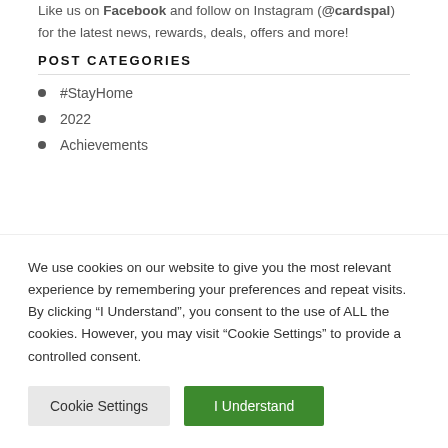Like us on Facebook and follow on Instagram (@cardspal) for the latest news, rewards, deals, offers and more!
POST CATEGORIES
#StayHome
2022
Achievements
We use cookies on our website to give you the most relevant experience by remembering your preferences and repeat visits. By clicking “I Understand”, you consent to the use of ALL the cookies. However, you may visit “Cookie Settings” to provide a controlled consent.